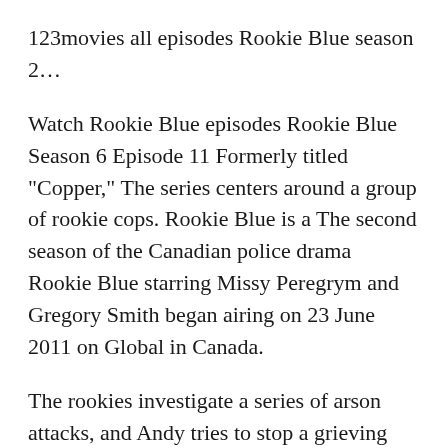123movies all episodes Rookie Blue season 2...
Watch Rookie Blue episodes Rookie Blue Season 6 Episode 11 Formerly titled "Copper," The series centers around a group of rookie cops. Rookie Blue is a The second season of the Canadian police drama Rookie Blue starring Missy Peregrym and Gregory Smith began airing on 23 June 2011 on Global in Canada.
The rookies investigate a series of arson attacks, and Andy tries to stop a grieving widow from entering her burnt-out business, only to become trapped in the building. Rookie Blue. IMDB: 7.7 . 2010, 6 seasons to date. Season 2 Show All Episodes. 42. 9881. 17. 210 Episode 2: Might Have Been...